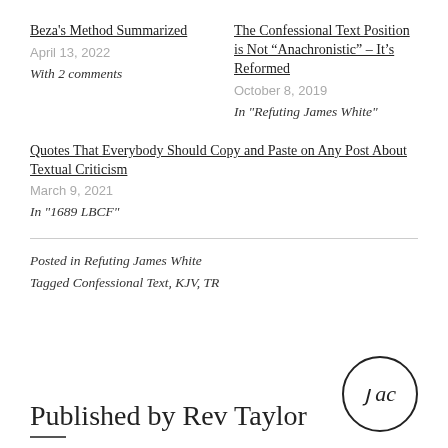Beza's Method Summarized
April 13, 2022
With 2 comments
The Confessional Text Position is Not “Anachronistic” – It’s Reformed
October 8, 2019
In "Refuting James White"
Quotes That Everybody Should Copy and Paste on Any Post About Textual Criticism
March 9, 2021
In "1689 LBCF"
Posted in Refuting James White
Tagged Confessional Text, KJV, TR
Published by Rev Taylor